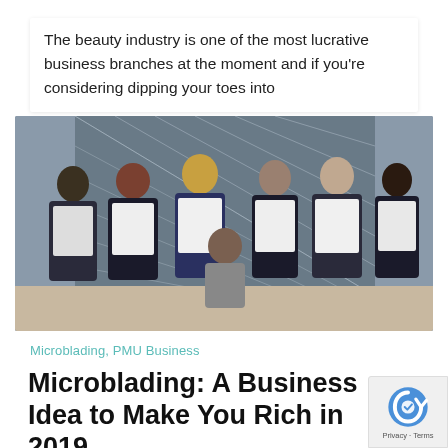The beauty industry is one of the most lucrative business branches at the moment and if you’re considering dipping your toes into
[Figure (photo): Group photo of seven women holding certificates, posing in front of a decorative bookshelf background. One woman is seated in the center front, the others stand behind her in two rows.]
Microblading, PMU Business
Microblading: A Business Idea to Make You Rich in 2019